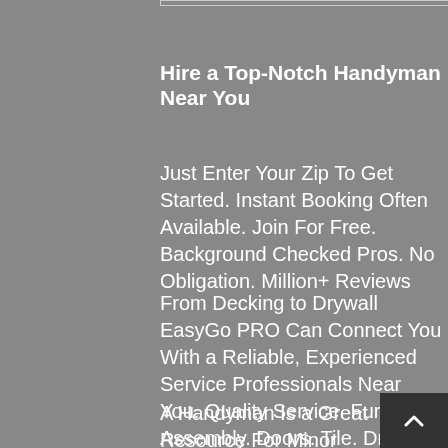Hire a Top-Notch Handyman Near You
Just Enter Your Zip To Get Started. Instant Booking Often Available. Join For Free. Background Checked Pros. No Obligation. Million+ Reviews
From Decking to Drywall  EasyGo PRO Can Connect You With a Reliable, Experienced Service Professionals Near  You. Quality Service. Furniture Assembly. Doors. Tile. Drywall. Professional Teams. Services: Drywall Repair/Install, Blind/Curtain Install, Fence/Gate Repair, Door Installation/Repair.
A Handyman Is a Great Resource For Minor Home Repairs At a Lower Cost Than a